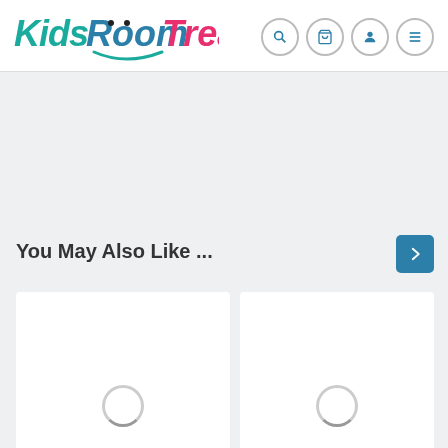Kids Room Treasures
You May Also Like ...
[Figure (screenshot): Two product loading cards with spinner indicators below 'You May Also Like ...' section heading with a blue right-arrow navigation button]